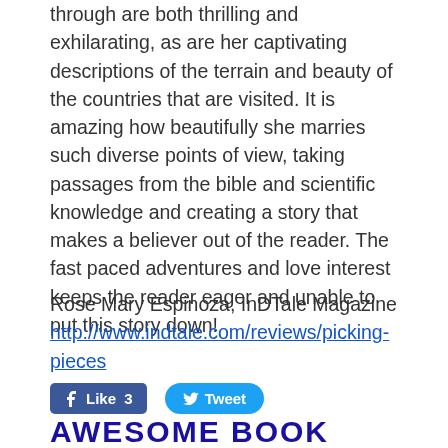through are both thrilling and exhilarating, as are her captivating descriptions of the terrain and beauty of the countries that are visited. It is amazing how beautifully she marries such diverse points of view, taking passages from the bible and scientific knowledge and creating a story that makes a believer out of the reader. The fast paced adventures and love interest keeps the reader eager and unable to put this story down!
Rose Mary Espinoza, InDTale Magazine
http://www.indtale.com/reviews/picking-pieces
[Figure (screenshot): Facebook Like button showing 'Like 3' and Twitter Tweet button]
AWESOME BOOK REVIEW